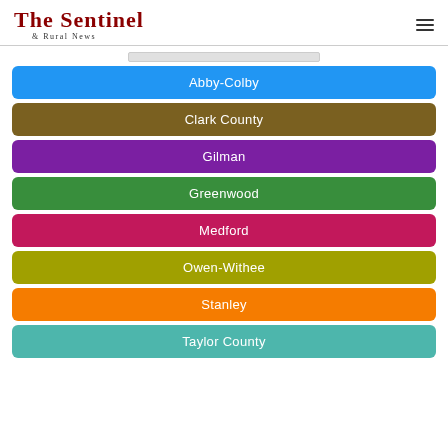The Sentinel & Rural News
Abby-Colby
Clark County
Gilman
Greenwood
Medford
Owen-Withee
Stanley
Taylor County